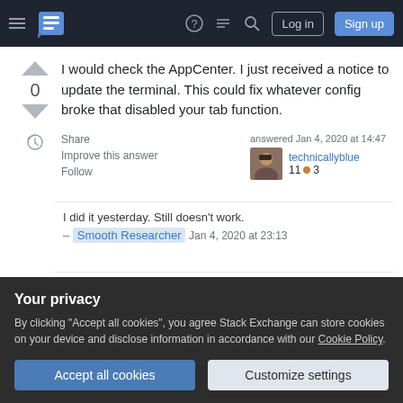Stack Exchange navigation bar with hamburger menu, logo, help, chat, search, Log in, Sign up
I would check the AppCenter. I just received a notice to update the terminal. This could fix whatever config broke that disabled your tab function.
Share   answered Jan 4, 2020 at 14:47
Improve this answer   technicallyblue  11 ●3
Follow
I did it yesterday. Still doesn't work.
– Smooth Researcher   Jan 4, 2020 at 23:13
1   Alright, then I would take a look the link curiouser
Your privacy
By clicking "Accept all cookies", you agree Stack Exchange can store cookies on your device and disclose information in accordance with our Cookie Policy.
Accept all cookies   Customize settings